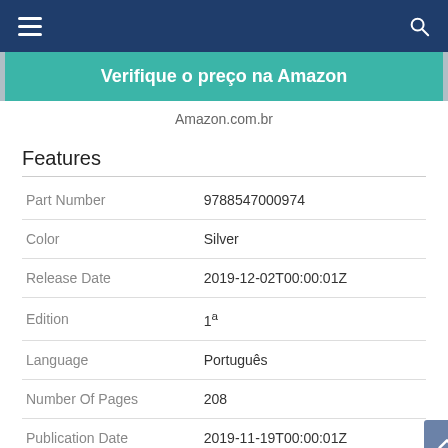Navigation bar with hamburger menu and search icon
Verifique o preço na Amazon
Amazon.com.br
Features
|  |  |
| --- | --- |
| Part Number | 9788547000974 |
| Color | Silver |
| Release Date | 2019-12-02T00:00:01Z |
| Edition | 1ª |
| Language | Português |
| Number Of Pages | 208 |
| Publication Date | 2019-11-19T00:00:01Z |